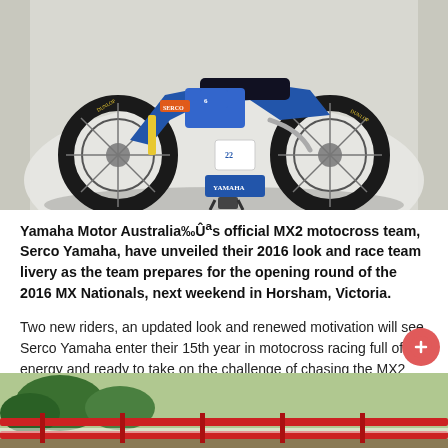[Figure (photo): A blue and white Yamaha motocross bike on a stand against a white backdrop in what appears to be a studio or garage setting.]
Yamaha Motor Australia‰Ûªs official MX2 motocross team, Serco Yamaha, have unveiled their 2016 look and race team livery as the team prepares for the opening round of the 2016 MX Nationals, next weekend in Horsham, Victoria.
Two new riders, an updated look and renewed motivation will see Serco Yamaha enter their 15th year in motocross racing full of energy and ready to take on the challenge of chasing the MX2 crown in 2016.
[Figure (photo): Outdoor motocross track scene with red barriers/gates and trees in the background.]